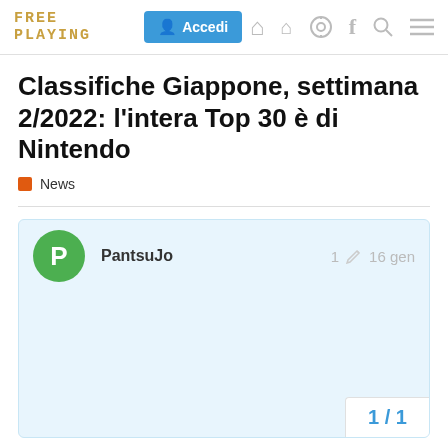FREE PLAYING | Accedi | Home | Podcast | Facebook | Search | Menu
Classifiche Giappone, settimana 2/2022: l'intera Top 30 è di Nintendo
News
PantsuJo  1  16 gen